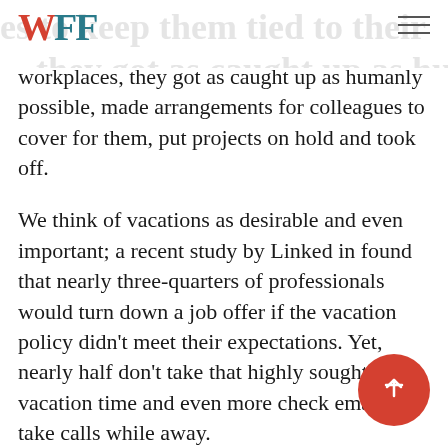WFF
workplaces, they got as caught up as humanly possible, made arrangements for colleagues to cover for them, put projects on hold and took off.
We think of vacations as desirable and even important; a recent study by Linked in found that nearly three-quarters of professionals would turn down a job offer if the vacation policy didn't meet their expectations. Yet, nearly half don't take that highly sought-after vacation time and even more check email and take calls while away.